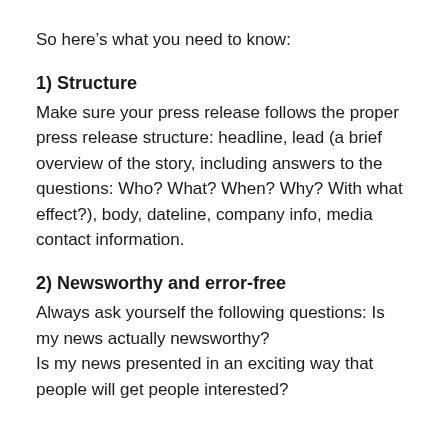So here’s what you need to know:
1) Structure
Make sure your press release follows the proper press release structure: headline, lead (a brief overview of the story, including answers to the questions: Who? What? When? Why? With what effect?), body, dateline, company info, media contact information.
2) Newsworthy and error-free
Always ask yourself the following questions: Is my news actually newsworthy?
Is my news presented in an exciting way that people will get people interested?